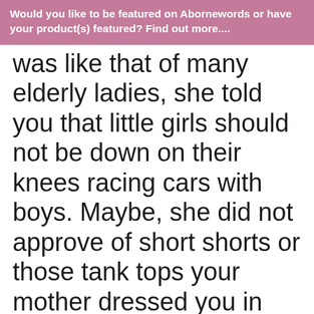Would you like to be featured on Abornewords or have your product(s) featured? Find out more....
was like that of many elderly ladies, she told you that little girls should not be down on their knees racing cars with boys. Maybe, she did not approve of short shorts or those tank tops your mother dressed you in either. Lots of lotion and a nice dress with crossed legs was probably a Kodak